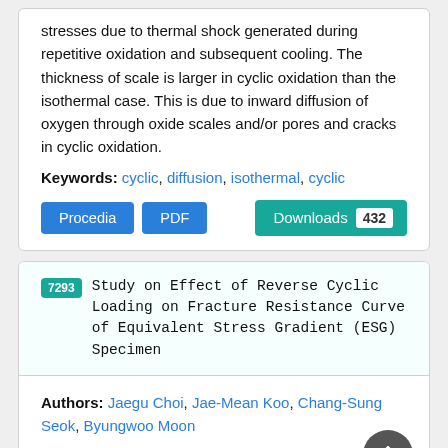stresses due to thermal shock generated during repetitive oxidation and subsequent cooling. The thickness of scale is larger in cyclic oxidation than the isothermal case. This is due to inward diffusion of oxygen through oxide scales and/or pores and cracks in cyclic oxidation.
Keywords: cyclic, diffusion, isothermal, cyclic
Procedia | PDF | Downloads 432
7293 Study on Effect of Reverse Cyclic Loading on Fracture Resistance Curve of Equivalent Stress Gradient (ESG) Specimen
Authors: Jaegu Choi, Jae-Mean Koo, Chang-Sung Seok, Byungwoo Moon
Abstract: